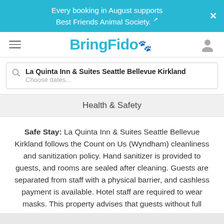Every booking in August supports Best Friends Animal Society.
[Figure (logo): BringFido logo with hamburger menu and user icon]
La Quinta Inn & Suites Seattle Bellevue Kirkland
Choose dates...
Health & Safety
Safe Stay: La Quinta Inn & Suites Seattle Bellevue Kirkland follows the Count on Us (Wyndham) cleanliness and sanitization policy. Hand sanitizer is provided to guests, and rooms are sealed after cleaning. Guests are separated from staff with a physical barrier, and cashless payment is available. Hotel staff are required to wear masks. This property advises that guests without full COVID-19 vaccination must wear masks.